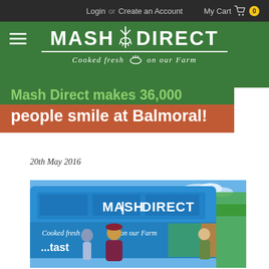Login or Create an Account   My Cart 0
[Figure (logo): Mash Direct logo with fork/potato masher icon and tagline 'Cooked fresh on our Farm' on green background]
Mash Direct makes 36,000 people smile at Balmoral!
20th May 2016
[Figure (photo): Mash Direct branded double-decker bus with logo and tagline 'Cooked fresh on our Farm', people standing in front at Balmoral Show]